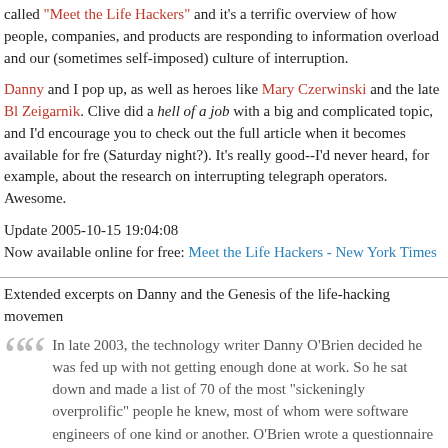called "Meet the Life Hackers" and it's a terrific overview of how people, companies, and products are responding to information overload and our (sometimes self-imposed) culture of interruption.
Danny and I pop up, as well as heroes like Mary Czerwinski and the late Bl Zeigarnik. Clive did a hell of a job with a big and complicated topic, and I'd encourage you to check out the full article when it becomes available for fre (Saturday night?). It's really good--I'd never heard, for example, about the research on interrupting telegraph operators. Awesome.
Update 2005-10-15 19:04:08
Now available online for free: Meet the Life Hackers - New York Times
Extended excerpts on Danny and the Genesis of the life-hacking movemen
In late 2003, the technology writer Danny O'Brien decided he was fed up with not getting enough done at work. So he sat down and made a list of 70 of the most "sickeningly overprolific" people he knew, most of whom were software engineers of one kind or another. O'Brien wrote a questionnaire asking them to explain how, precisely, they managed such awesome output. Over the next few weeks they e-mailed their replies, an